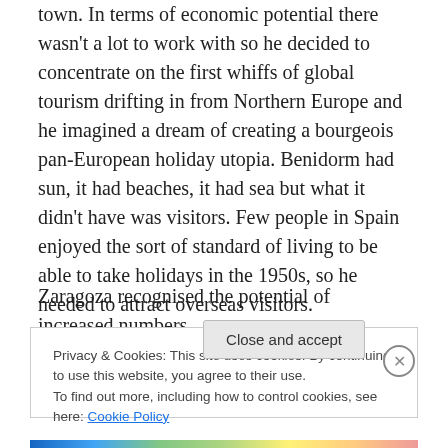town. In terms of economic potential there wasn't a lot to work with so he decided to concentrate on the first whiffs of global tourism drifting in from Northern Europe and he imagined a dream of creating a bourgeois pan-European holiday utopia. Benidorm had sun, it had beaches, it had sea but what it didn't have was visitors. Few people in Spain enjoyed the sort of standard of living to be able to take holidays in the 1950s, so he needed to attract overseas visitors.
Zaragoza recognised the potential of increased numbers
Privacy & Cookies: This site uses cookies. By continuing to use this website, you agree to their use.
To find out more, including how to control cookies, see here: Cookie Policy